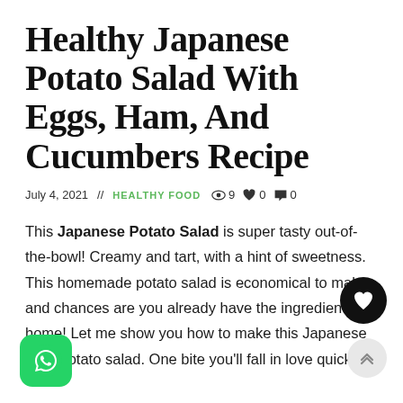Healthy Japanese Potato Salad With Eggs, Ham, And Cucumbers Recipe
July 4, 2021 // HEALTHY FOOD 👁 9 ♥ 0 💬 0
This Japanese Potato Salad is super tasty out-of-the-bowl! Creamy and tart, with a hint of sweetness. This homemade potato salad is economical to make and chances are you already have the ingredients at home! Let me show you how to make this Japanese style potato salad. One bite you'll fall in love quickly!